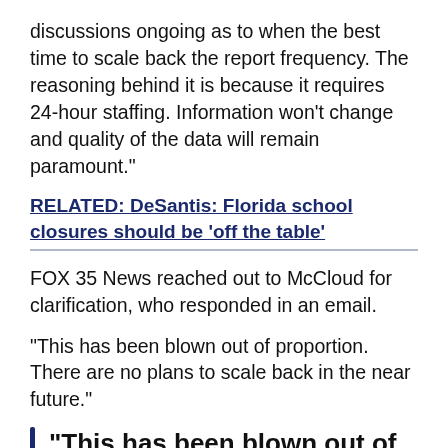discussions ongoing as to when the best time to scale back the report frequency. The reasoning behind it is because it requires 24-hour staffing. Information won't change and quality of the data will remain paramount."
RELATED: DeSantis: Florida school closures should be 'off the table'
FOX 35 News reached out to McCloud for clarification, who responded in an email.
"This has been blown out of proportion. There are no plans to scale back in the near future."
"This has been blown out of proportion."
— Gov. Ron DeSantis' Press Secretary Cody McCloud